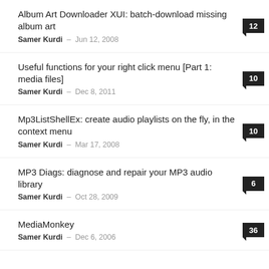Album Art Downloader XUI: batch-download missing album art — Samer Kurdi — Jun 12, 2008 — 12
Useful functions for your right click menu [Part 1: media files] — Samer Kurdi — Dec 8, 2011 — 10
Mp3ListShellEx: create audio playlists on the fly, in the context menu — Samer Kurdi — Mar 17, 2008 — 10
MP3 Diags: diagnose and repair your MP3 audio library — Samer Kurdi — Oct 28, 2009 — 6
MediaMonkey — Samer Kurdi — Dec 6, 2006 — 36